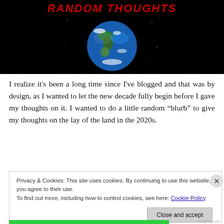[Figure (illustration): Blog banner with black background showing the Earth globe from space and bold red italic text 'RANDOM THOUGHTS' at the top]
I realize it's been a long time since I've blogged and that was by design, as I wanted to let the new decade fully begin before I gave my thoughts on it. I wanted to do a little random “blurb” to give my thoughts on the lay of the land in the 2020s.
Privacy & Cookies: This site uses cookies. By continuing to use this website, you agree to their use.
To find out more, including how to control cookies, see here: Cookie Policy
Close and accept